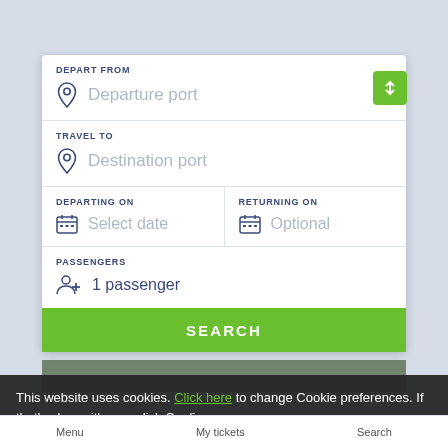DEPART FROM
Departure port
TRAVEL TO
Destination port
DEPARTING ON
Select date
RETURNING ON
Optional
PASSENGERS
1 passenger
SEARCH
This website uses cookies. Click here to change Cookie preferences. If that's okay with you, click Confirm.
Confirm
Menu   My tickets   Search